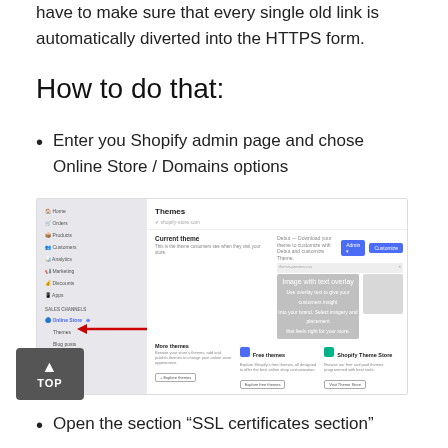have to make sure that every single old link is automatically diverted into the HTTPS form.
How to do that:
Enter you Shopify admin page and chose Online Store / Domains options
[Figure (screenshot): Shopify admin panel screenshot showing the Themes page with a red arrow pointing to the Domains option in the left sidebar navigation.]
Open the section “SSL certificates section”